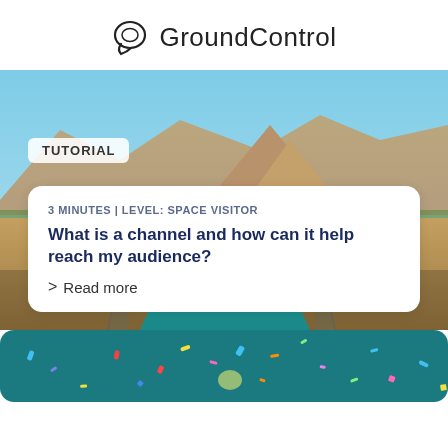GroundControl
[Figure (photo): Aerial view of a blue water canal cutting through desert terrain with mountains in background. A white card overlay shows tutorial content.]
TUTORIAL
3 MINUTES | LEVEL: SPACE VISITOR
What is a channel and how can it help reach my audience?
> Read more
[Figure (photo): Teal/dark cyan background with colorful confetti pieces scattered across it.]